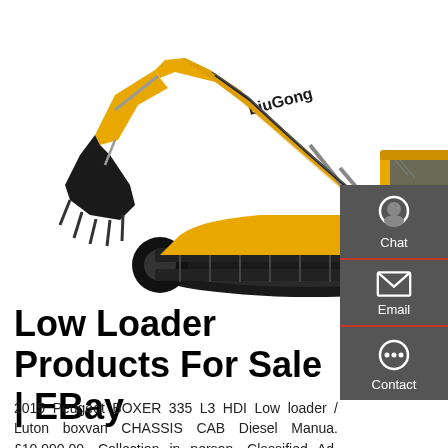[Figure (photo): Yellow LiuGong tracked excavator on white background, showing the full machine in profile view with boom and bucket extended to the left]
Low Loader Products For Sale | EBay
2015 Peugeot BOXER 335 L3 HDI Low loader / Luton boxvan CHASSIS CAB Diesel Manua. £10,990.00. Collection in person. Classified Ad. Corgi 31011 ERF KV Low Loader Robert Walker Certify 02267 £25.00